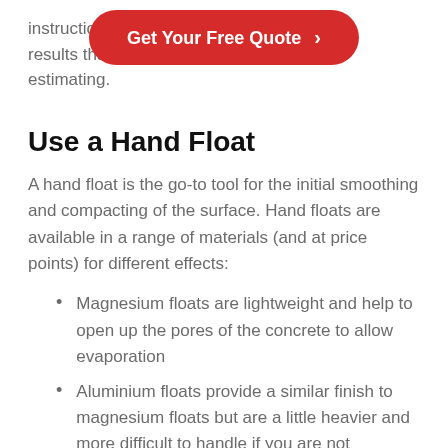instructions better results tha e or estimating.
[Figure (other): Red pill-shaped CTA button with white text reading 'Get Your Free Quote >']
Use a Hand Float
A hand float is the go-to tool for the initial smoothing and compacting of the surface. Hand floats are available in a range of materials (and at price points) for different effects:
Magnesium floats are lightweight and help to open up the pores of the concrete to allow evaporation
Aluminium floats provide a similar finish to magnesium floats but are a little heavier and more difficult to handle if you are not